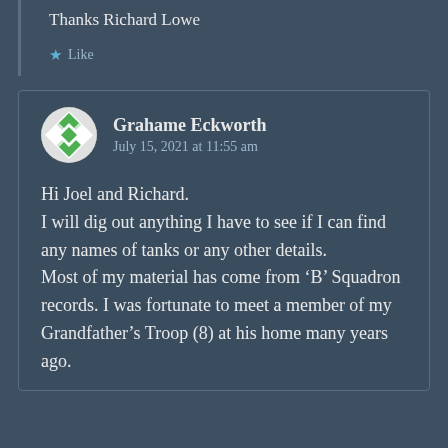Thanks Richard Lowe
Like
Grahame Eckworth
July 15, 2021 at 11:55 am
Hi Joel and Richard.
I will dig out anything I have to see if I can find any names of tanks or any other details.
Most of my material has come from ‘B’ Squadron records. I was fortunate to meet a member of my Grandfather’s Troop (8) at his home many years ago.